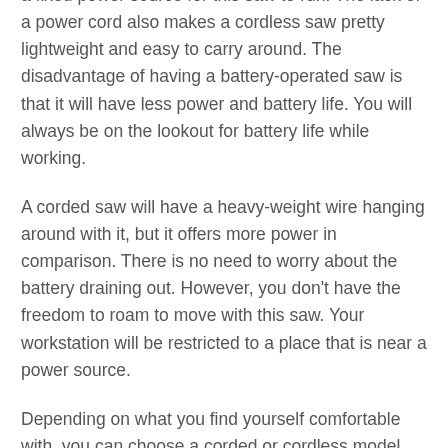a fixed power source for this saw to run. The lack of a power cord also makes a cordless saw pretty lightweight and easy to carry around. The disadvantage of having a battery-operated saw is that it will have less power and battery life. You will always be on the lookout for battery life while working.
A corded saw will have a heavy-weight wire hanging around with it, but it offers more power in comparison. There is no need to worry about the battery draining out. However, you don't have the freedom to roam to move with this saw. Your workstation will be restricted to a place that is near a power source.
Depending on what you find yourself comfortable with, you can choose a corded or cordless model.
Cut depth
When you are going for a saw, you are definitely looking for a great cut depth. It refers to the depth of the cut the blade can make in the